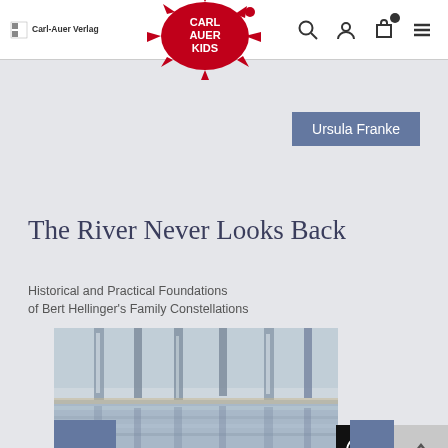Carl-Auer Verlag navigation bar with logo, Carl Auer Kids splat logo, search, user, cart and menu icons
Ursula Franke
The River Never Looks Back
Historical and Practical Foundations of Bert Hellinger's Family Constellations
[Figure (photo): Book cover image showing a river scene with trees reflected in water, impressionistic style painting in blue and grey tones]